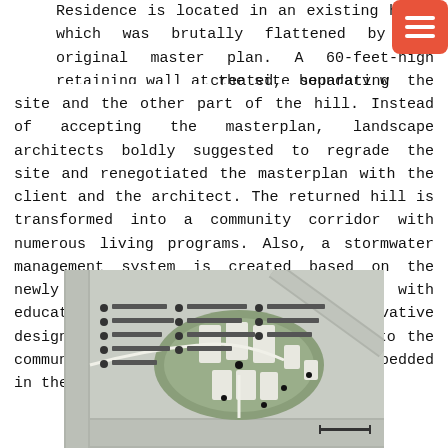Residence is located in an existing hill, which was brutally flattened by the original master plan. A 60-feet-high retaining wall at the site boundary was created, separating the site and the other part of the hill. Instead of accepting the masterplan, landscape architects boldly suggested to regrade the site and renegotiated the masterplan with the client and the architect. The returned hill is transformed into a community corridor with numerous living programs. Also, a stormwater management system is created based on the newly graded topography, together with educational initiatives. This innovative design strategy offers not only nature to the community but also a unique lifestyle embedded in the city.
[Figure (map): A site plan / map showing the landscape design layout with building footprints, pathways, and a legend listing various site elements including parks, entry points, plazas, green areas, and access routes.]